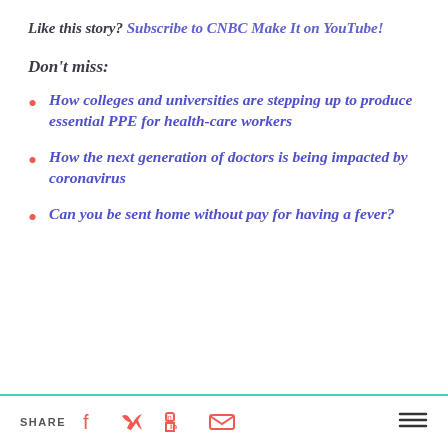Like this story? Subscribe to CNBC Make It on YouTube!
Don't miss:
How colleges and universities are stepping up to produce essential PPE for health-care workers
How the next generation of doctors is being impacted by coronavirus
Can you be sent home without pay for having a fever?
SHARE [facebook] [twitter] [linkedin] [email] [menu]